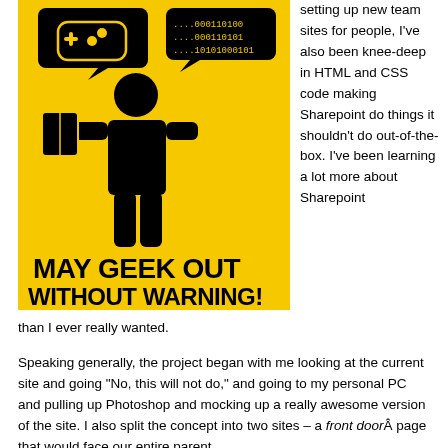[Figure (illustration): Yellow warning sign illustration with black silhouette of person holding a book/tablet, with speech bubbles containing binary code and gaming controller icon. Text reads 'MAY GEEK OUT WITHOUT WARNING!' in bold black letters on yellow background.]
setting up new team sites for people, I've also been knee-deep in HTML and CSS code making Sharepoint do things it shouldn't do out-of-the-box. I've been learning a lot more about Sharepoint than I ever really wanted.
Speaking generally, the project began with me looking at the current site and going "No, this will not do," and going to my personal PC and pulling up Photoshop and mocking up a really awesome version of the site. I also split the concept into two sites – a front door page that would face our entire parent